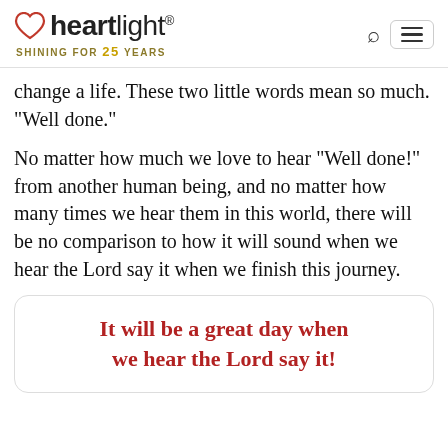heartlight® SHINING FOR 25 YEARS
change a life. These two little words mean so much. "Well done."
No matter how much we love to hear "Well done!" from another human being, and no matter how many times we hear them in this world, there will be no comparison to how it will sound when we hear the Lord say it when we finish this journey.
It will be a great day when we hear the Lord say it!